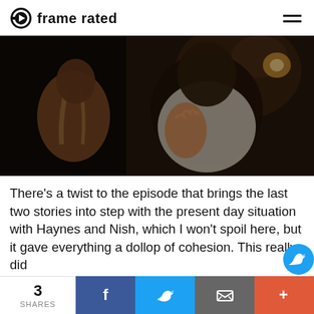frame rated
[Figure (photo): Two figures in a dark scene — one seen from behind wearing a backpack, the other facing forward pressing a hand against a wall, dimly lit with warm background lighting]
There's a twist to the episode that brings the last two stories into step with the present day situation with Haynes and Nish, which I won't spoil here, but it gave everything a dollop of cohesion. This really did
3 SHARES  [Facebook]  [Twitter]  [Email]  [+]